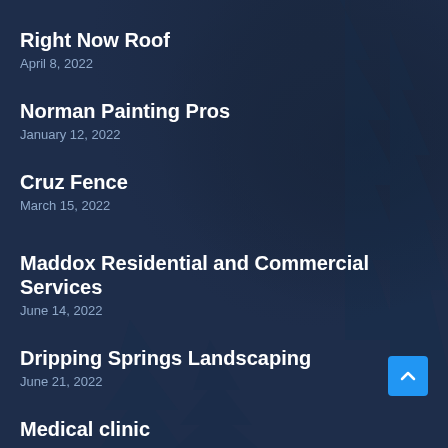Right Now Roof
April 8, 2022
Norman Painting Pros
January 12, 2022
Cruz Fence
March 15, 2022
Maddox Residential and Commercial Services
June 14, 2022
Dripping Springs Landscaping
June 21, 2022
Medical clinic